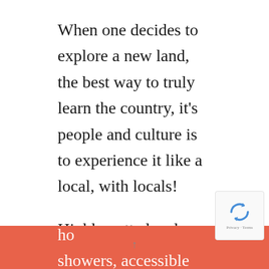When one decides to explore a new land, the best way to truly learn the country, it's people and culture is to experience it like a local, with locals!

Highly vetted and exclusively curated, our host families are hand-picked from a large sampling who have extensive experience and training, while undergoing a rigorous background check each year through the Kenyan Directorate of Criminal Investigations. Think you'll be uncomfortable? Think again. Luxuriate in residences which are inviting and feature creature comforts including nourishing hot showers, accessible broadband WIFI, lovely